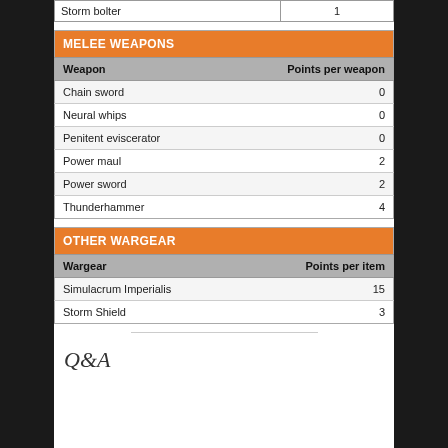| Storm bolter | 1 |
| --- | --- |
| MELEE WEAPONS |  |
| --- | --- |
| Weapon | Points per weapon |
| Chain sword | 0 |
| Neural whips | 0 |
| Penitent eviscerator | 0 |
| Power maul | 2 |
| Power sword | 2 |
| Thunderhammer | 4 |
| OTHER WARGEAR |  |
| --- | --- |
| Wargear | Points per item |
| Simulacrum Imperialis | 15 |
| Storm Shield | 3 |
Q&A